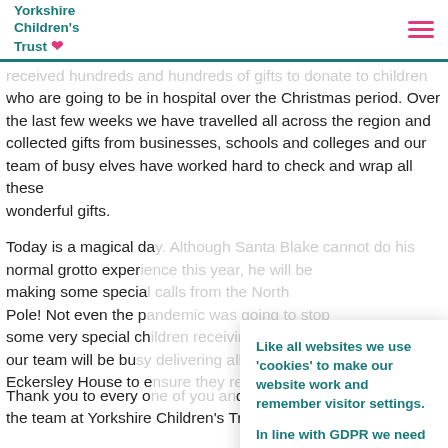Yorkshire Children's Trust
received hundreds and hundreds of gifts to donate to children who are going to be in hospital over the Christmas period. Over the last few weeks we have travelled all across the region and collected gifts from businesses, schools and colleges and our team of busy elves have worked hard to check and wrap all these wonderful gifts.
Today is a magical day. Although Santa Blake cannot do his normal grotto experience this year, he will be making some special calls from the North Pole! Not even the pandemic was going to stop some very special children receiving gifts! And our team will be busy delivering all the gifts to Eckersley House to ensure they reach the children.
Thank you to every one of you and the team at Yorkshire Children's Trust would like to wish you a
Like all websites we use 'cookies' to make our website work and remember visitor settings.

In line with GDPR we need your consent for these cookies.